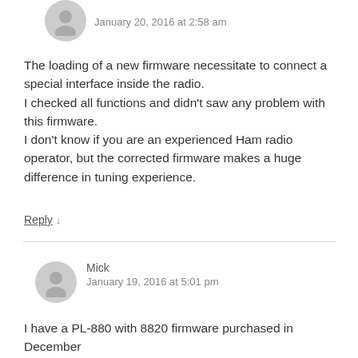January 20, 2016 at 2:58 am
The loading of a new firmware necessitate to connect a special interface inside the radio.
I checked all functions and didn't saw any problem with this firmware.
I don't know if you are an experienced Ham radio operator, but the corrected firmware makes a huge difference in tuning experience.
Reply ↓
Mick
January 19, 2016 at 5:01 pm
I have a PL-880 with 8820 firmware purchased in December